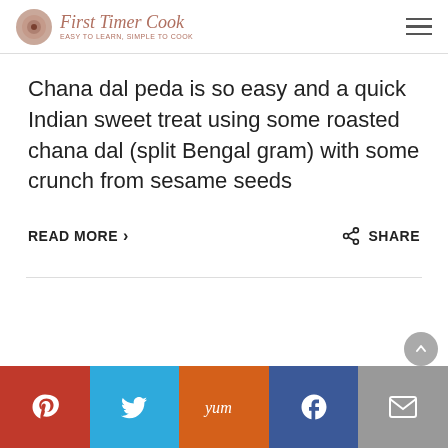First Timer Cook
Chana dal peda is so easy and a quick Indian sweet treat using some roasted chana dal (split Bengal gram) with some crunch from sesame seeds
READ MORE  SHARE
Pinterest  Twitter  Yum  Facebook  Email